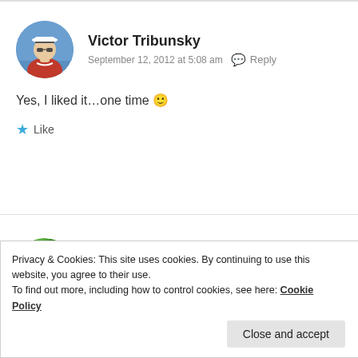Victor Tribunsky
September 12, 2012 at 5:08 am  Reply
Yes, I liked it…one time 🙂
★ Like
Arizona girl
Privacy & Cookies: This site uses cookies. By continuing to use this website, you agree to their use. To find out more, including how to control cookies, see here: Cookie Policy
Close and accept